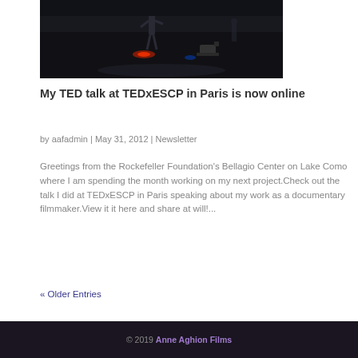[Figure (photo): Dark stage photo with person standing under lighting, appears to be a TED talk setting]
My TED talk at TEDxESCP in Paris is now online
by aafadmin | May 31, 2012 | Newsletter
Greetings from the Rockefeller Foundation's Bellagio Center on Lake Como where I am spending the month working on my next project.Check out the talk I did at TEDxESCP in Paris speaking about my work as a documentary filmmaker.View it it here and share at will!...
« Older Entries
© 2019 Anne Aghion Films